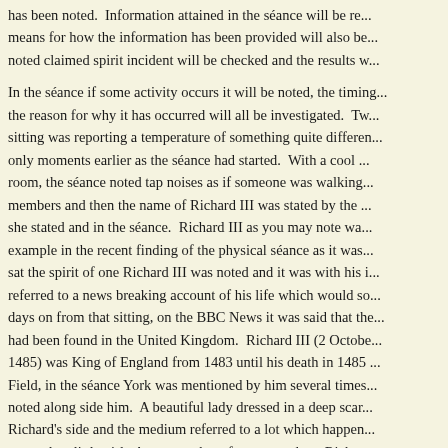has been noted. Information attained in the seance will be re... means for how the information has been provided will also be... noted claimed spirit incident will be checked and the results w... In the séance if some activity occurs it will be noted, the timing... the reason for why it has occurred will all be investigated. Tw... sitting was reporting a temperature of something quite differen... only moments earlier as the séance had started. With a cool... room, the séance noted tap noises as if someone was walking... members and then the name of Richard III was stated by the... she stated and in the séance. Richard III as you may note wa... example in the recent finding of the physical séance as it was... sat the spirit of one Richard III was noted and it was with his i... referred to a news breaking account of his life which would so... days on from that sitting, on the BBC News it was said that the... had been found in the United Kingdom. Richard III (2 Octobe... 1485) was King of England from 1483 until his death in 1485... Field, in the séance York was mentioned by him several times... noted along side him. A beautiful lady dressed in a deep scar... Richard's side and the medium referred to a lot which happen... was only a little girl. Anne was the reference made as Richar... speech to the séance. It is thought Anne of York (2 Novembe... 1511) was the spirit talked of as she was born in the Palace o... as the fifth daughter of King Edward IV of England and his wi...